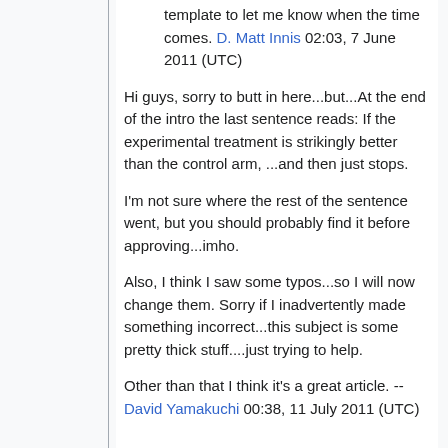template to let me know when the time comes. D. Matt Innis 02:03, 7 June 2011 (UTC)
Hi guys, sorry to butt in here...but...At the end of the intro the last sentence reads: If the experimental treatment is strikingly better than the control arm, ...and then just stops.
I'm not sure where the rest of the sentence went, but you should probably find it before approving...imho.
Also, I think I saw some typos...so I will now change them. Sorry if I inadvertently made something incorrect...this subject is some pretty thick stuff....just trying to help.
Other than that I think it's a great article. --David Yamakuchi 00:38, 11 July 2011 (UTC)